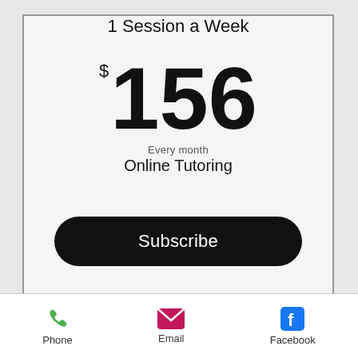1 Session a Week
$156
Every month
Online Tutoring
Subscribe
Phone  Email  Facebook